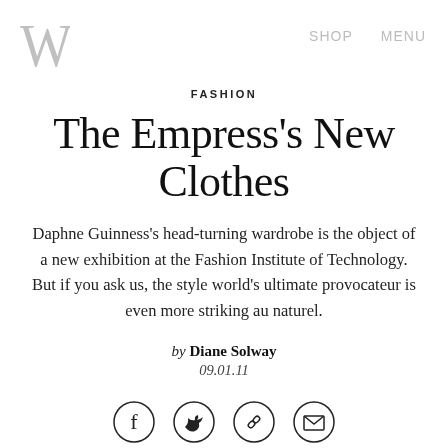W  SHOP  MENU
FASHION
The Empress's New Clothes
Daphne Guinness's head-turning wardrobe is the object of a new exhibition at the Fashion Institute of Technology. But if you ask us, the style world's ultimate provocateur is even more striking au naturel.
by Diane Solway
09.01.11
[Figure (other): Social sharing icons: Facebook, Twitter, Link/chain, Email]